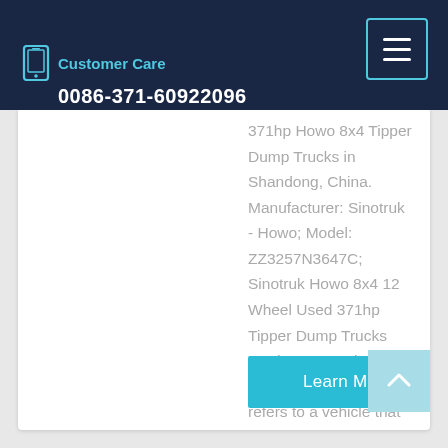Customer Care 0086-371-60922096
371hp Howo 8x4 Tipper Dump Trucks in Shandong, China. Manufacturer: Sinotruk - Howo; Model: ZZ3257N3647C; Sinotruk Howo 8x4 12 Wheel Used 371hp Tipper Dump Trucks Products Description HOWO dump truck refers to a vehicle that unloads goods by hydraulic or mechanical lifting. It is composed of automobile chassis
Learn More